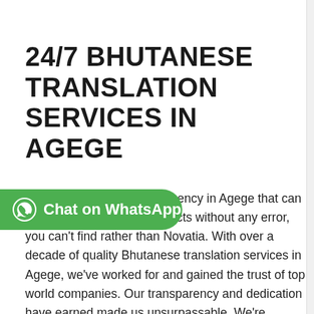24/7 BHUTANESE TRANSLATION SERVICES IN AGEGE
[Figure (other): Green WhatsApp chat button with WhatsApp logo icon and text 'Chat on WhatsApp']
hese translation services agency in Agege that can effectively handle bulk projects without any error, you can't find rather than Novatia. With over a decade of quality Bhutanese translation services in Agege, we've worked for and gained the trust of top world companies. Our transparency and dedication have earned made us unsurpassable. We're always available for your quality Bhutanese translation services in Agege. Subscribe to our services and send us your project details, then b...